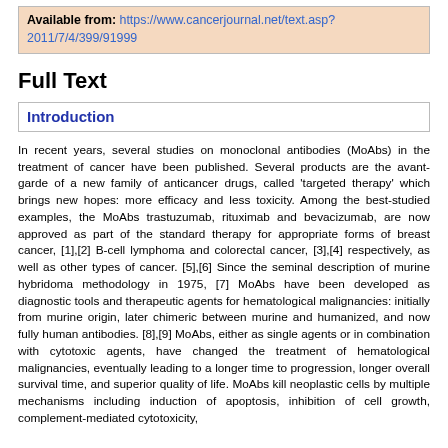Available from: https://www.cancerjournal.net/text.asp?2011/7/4/399/91999
Full Text
Introduction
In recent years, several studies on monoclonal antibodies (MoAbs) in the treatment of cancer have been published. Several products are the avant-garde of a new family of anticancer drugs, called 'targeted therapy' which brings new hopes: more efficacy and less toxicity. Among the best-studied examples, the MoAbs trastuzumab, rituximab and bevacizumab, are now approved as part of the standard therapy for appropriate forms of breast cancer, [1],[2] B-cell lymphoma and colorectal cancer, [3],[4] respectively, as well as other types of cancer. [5],[6] Since the seminal description of murine hybridoma methodology in 1975, [7] MoAbs have been developed as diagnostic tools and therapeutic agents for hematological malignancies: initially from murine origin, later chimeric between murine and humanized, and now fully human antibodies. [8],[9] MoAbs, either as single agents or in combination with cytotoxic agents, have changed the treatment of hematological malignancies, eventually leading to a longer time to progression, longer overall survival time, and superior quality of life. MoAbs kill neoplastic cells by multiple mechanisms including induction of apoptosis, inhibition of cell growth, complement-mediated cytotoxicity,